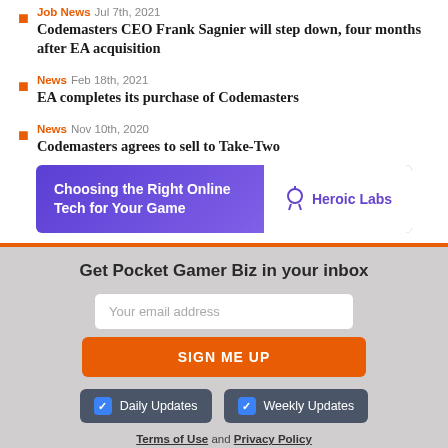Job News  Jul 7th, 2021 — Codemasters CEO Frank Sagnier will step down, four months after EA acquisition
News  Feb 18th, 2021 — EA completes its purchase of Codemasters
News  Nov 10th, 2020 — Codemasters agrees to sell to Take-Two
[Figure (illustration): Advertisement banner for Heroic Labs: 'Choosing the Right Online Tech for Your Game' with Heroic Labs logo on purple background]
Get Pocket Gamer Biz in your inbox
Your email address
SIGN ME UP
Daily Updates
Weekly Updates
Terms of Use and Privacy Policy